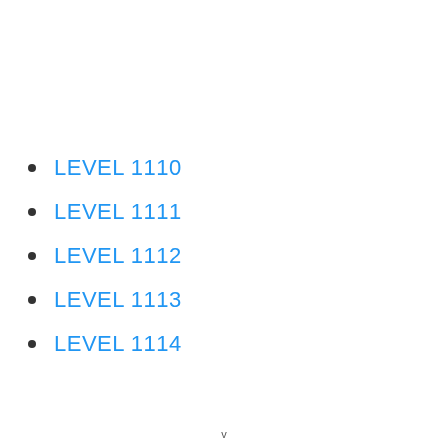LEVEL 1110
LEVEL 1111
LEVEL 1112
LEVEL 1113
LEVEL 1114
v